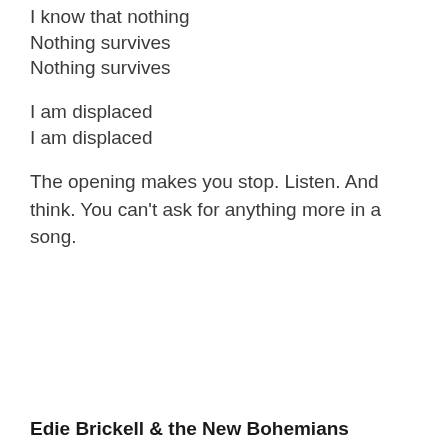I know that nothing
Nothing survives
Nothing survives
I am displaced
I am displaced
The opening makes you stop. Listen. And think. You can't ask for anything more in a song.
Edie Brickell & the New Bohemians